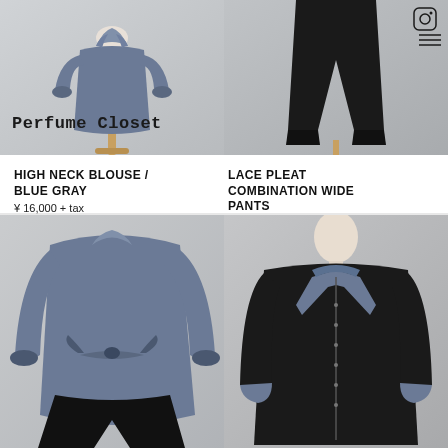[Figure (photo): Top-left product photo: blue-gray high neck blouse on mannequin with ruffled collar and balloon sleeves, light gray background. Perfume Closet logo text overlaid.]
[Figure (photo): Top-right product photo: black wide-leg pants on lower half mannequin, with Instagram icon and menu lines in top-right corner, gray background.]
HIGH NECK BLOUSE / BLUE GRAY
¥ 16,000 + tax
LACE PLEAT COMBINATION WIDE PANTS
¥ 26,000 + tax
[Figure (photo): Bottom-left product photo: blue-gray satin high neck blouse tied at waist over black wide-leg pants, close-up showing bow tie detail, light gray background.]
[Figure (photo): Bottom-right product photo: black jacket with blue-gray lapels and collar detail on mannequin, white shirt underneath, gray background.]